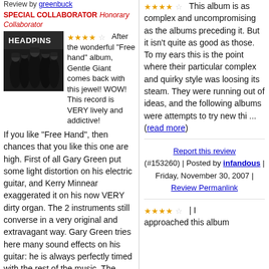Review by greenbuck
SPECIAL COLLABORATOR Honorary Collaborator
[Figure (photo): Black and white album cover photo of Headpins band members with text HEADPINS at top]
After the wonderful "Free hand" album, Gentle Giant comes back with this jewel! WOW! This record is VERY lively and addictive! If you like "Free Hand", then chances that you like this one are high. First of all Gary Green put some light distortion on his electric guitar, and Kerry Minnear exaggerated it on his now VERY dirty organ. The 2 instruments still converse in a very original and extravagant way. Gary Green tries here many sound effects on his guitar: he is always perfectly timed with the rest of the music. The patterns here are slightly more repetitive than usual, but it is not irritating at all. John Weathers plays funny melodic percussions. The musicians play relentlessly. "Design" is a
This album is as complex and uncompromising as the albums preceding it. But it isn't quite as good as those. To my ears this is the point where their particular complex and quirky style was loosing its steam. They were running out of ideas, and the following albums were attempts to try new thi ... (read more)
Report this review (#153260) | Posted by infandous | Friday, November 30, 2007 | Review Permanlink
I approached this album